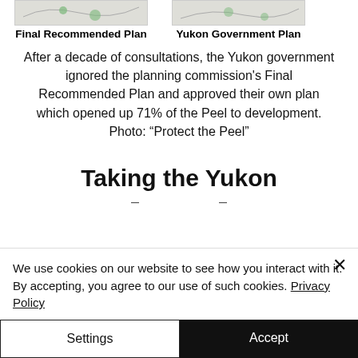Final Recommended Plan
Yukon Government Plan
After a decade of consultations, the Yukon government ignored the planning commission's Final Recommended Plan and approved their own plan which opened up 71% of the Peel to development. Photo: “Protect the Peel”
Taking the Yukon
We use cookies on our website to see how you interact with it. By accepting, you agree to our use of such cookies. Privacy Policy